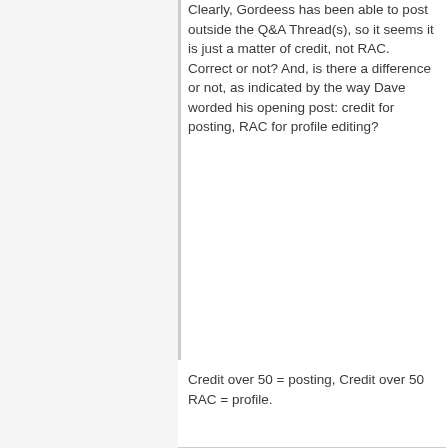Clearly, Gordeess has been able to post outside the Q&A Thread(s), so it seems it is just a matter of credit, not RAC. Correct or not? And, is there a difference or not, as indicated by the way Dave worded his opening post: credit for posting, RAC for profile editing?
Credit over 50 = posting, Credit over 50 RAC = profile.